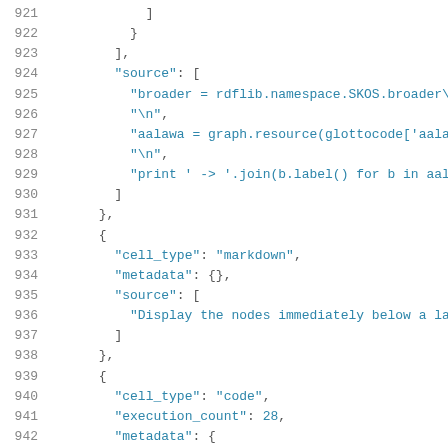921     ]
922     }
923   ],
924   "source": [
925     "broader = rdflib.namespace.SKOS.broader\n",
926     "\n",
927     "aalawa = graph.resource(glottocode['aala1237
928     "\n",
929     "print ' -> '.join(b.label() for b in aalawa.
930   ]
931 },
932 {
933   "cell_type": "markdown",
934   "metadata": {},
935   "source": [
936     "Display the nodes immediately below a languo
937   ]
938 },
939 {
940   "cell_type": "code",
941   "execution_count": 28,
942   "metadata": {
943   "collapsed": false,